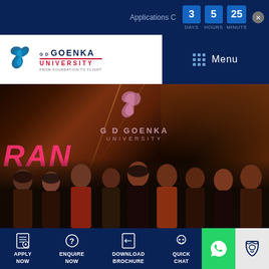Applications C   3 DAYS   5 HOURS   25 MINUTS
[Figure (logo): GD Goenka University logo with bird/phoenix icon, tagline FROM FOUNDATION TO FLIGHT]
Menu
[Figure (photo): Group photo of students standing in front of a dark backdrop with GD Goenka University logo and pink decorative text. The backdrop shows a phoenix logo and the text G D GOENKA UNIVERSITY.]
APPLY NOW
ENQUIRE NOW
DOWNLOAD BROCHURE
QUICK CHAT